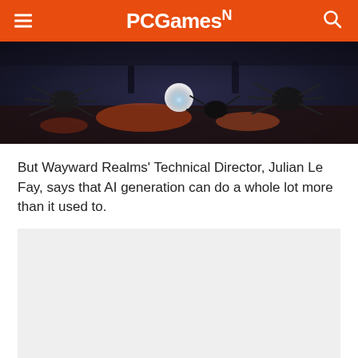PCGamesN
[Figure (photo): Dark fantasy game screenshot showing spider-like creature enemies in a dimly lit arena with a glowing light source in the center, from the game Wayward Realms]
But Wayward Realms' Technical Director, Julian Le Fay, says that AI generation can do a whole lot more than it used to.
[Figure (other): Advertisement placeholder box with light gray background]